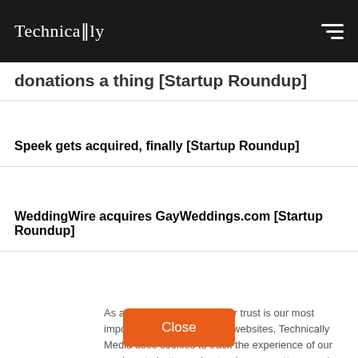Technically
donations a thing [Startup Roundup]
Speek gets acquired, finally [Startup Roundup]
WeddingWire acquires GayWeddings.com [Startup Roundup]
As a news organization, your trust is our most important metric. Like other websites, Technically Media uses cookies to track the experience of our readers, to better understand usage patterns and content preferences. We will not sell or rent your personal information to third parties. For more information or to contact us, read our entire Ethics & Privacy Policy.